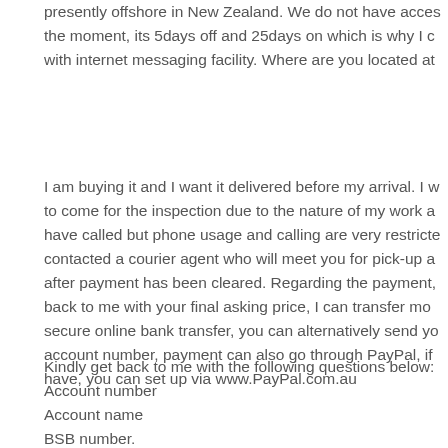presently offshore in New Zealand. We do not have access at the moment, its 5days off and 25days on which is why I can only communicate with internet messaging facility. Where are you located at
I am buying it and I want it delivered before my arrival. I was not able to come for the inspection due to the nature of my work and I would have called but phone usage and calling are very restricted. I have contacted a courier agent who will meet you for pick-up and delivery after payment has been cleared. Regarding the payment, kindly get back to me with your final asking price, I can transfer money through secure online bank transfer, you can alternatively send your bank account number, payment can also go through PayPal, if you don't have, you can set up via www.PayPal.com.au
Kindly get back to me with the following questions below: Account number Account name BSB number.